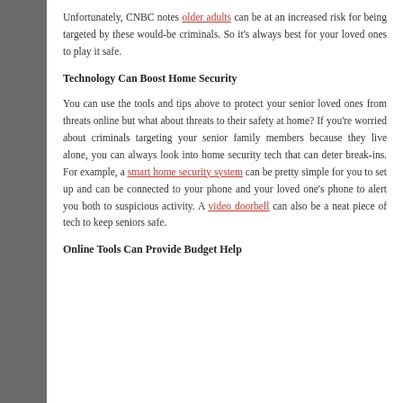Unfortunately, CNBC notes older adults can be at an increased risk for being targeted by these would-be criminals. So it's always best for your loved ones to play it safe.
Technology Can Boost Home Security
You can use the tools and tips above to protect your senior loved ones from threats online but what about threats to their safety at home? If you're worried about criminals targeting your senior family members because they live alone, you can always look into home security tech that can deter break-ins. For example, a smart home security system can be pretty simple for you to set up and can be connected to your phone and your loved one's phone to alert you both to suspicious activity. A video doorbell can also be a neat piece of tech to keep seniors safe.
Online Tools Can Provide Budget Help